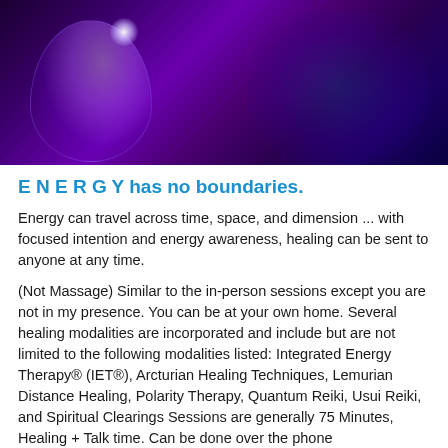[Figure (illustration): Purple and blue digital/cosmic illustration showing a human head silhouette made of geometric grid lines on the left with a bright white glow point at the top, and a complex fractal/mandala-like energy pattern on the right, against a deep purple and dark background.]
E N E R G Y has no boundaries.
Energy can travel across time, space, and dimension ... with focused intention and energy awareness, healing can be sent to anyone at any time.
(Not Massage)  Similar to the in-person sessions except you are not in my presence. You can be at your own home. Several healing modalities are incorporated and include but are not limited to the following modalities listed: Integrated Energy Therapy® (IET®), Arcturian Healing Techniques, Lemurian Distance Healing, Polarity Therapy, Quantum Reiki, Usui Reiki, and Spiritual Clearings Sessions are generally 75 Minutes, Healing + Talk time. Can be done over the phone